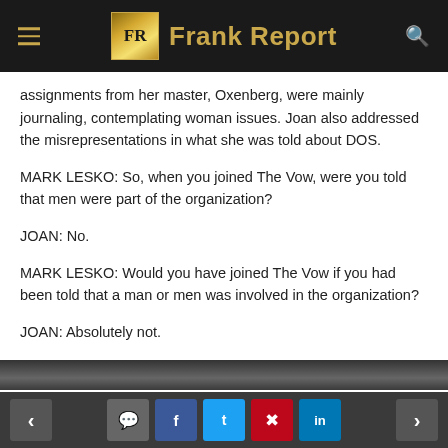Frank Report
assignments from her master, Oxenberg, were mainly journaling, contemplating woman issues. Joan also addressed the misrepresentations in what she was told about DOS.
MARK LESKO: So, when you joined The Vow, were you told that men were part of the organization?
JOAN: No.
MARK LESKO: Would you have joined The Vow if you had been told that a man or men was involved in the organization?
JOAN: Absolutely not.
[Figure (photo): Partial photo strip at bottom of article]
Navigation and social sharing buttons: previous, comment, Facebook, Twitter, Pinterest, LinkedIn, next